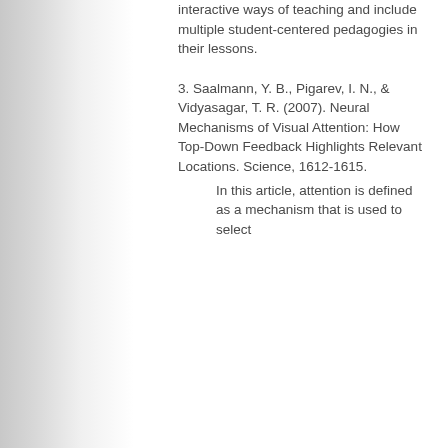interactive ways of teaching and include multiple student-centered pedagogies in their lessons.
3. Saalmann, Y. B., Pigarev, I. N., & Vidyasagar, T. R. (2007). Neural Mechanisms of Visual Attention: How Top-Down Feedback Highlights Relevant Locations. Science, 1612-1615.
In this article, attention is defined as a mechanism that is used to select